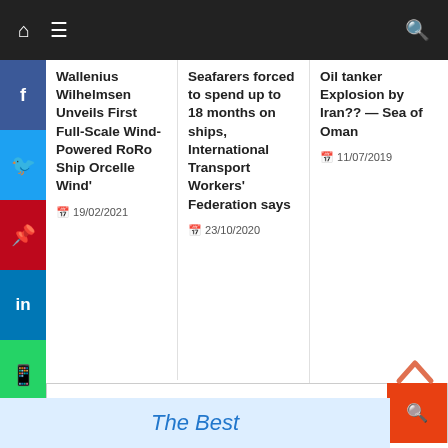Navigation bar with home, menu, and search icons
Wallenius Wilhelmsen Unveils First Full-Scale Wind-Powered RoRo Ship Orcelle Wind'
19/02/2021
Seafarers forced to spend up to 18 months on ships, International Transport Workers' Federation says
23/10/2020
Oil tanker Explosion by Iran?? — Sea of Oman
11/07/2019
Search
The Best